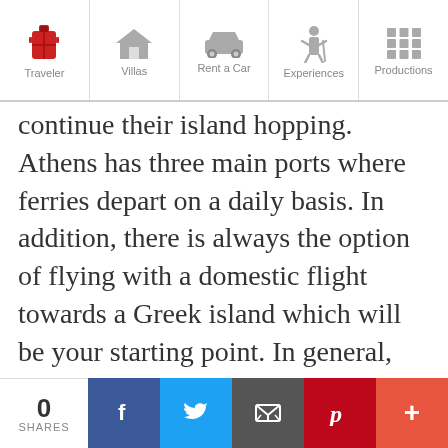Traveler | Villas | Rent a Car | Experiences | Productions
continue their island hopping. Athens has three main ports where ferries depart on a daily basis. In addition, there is always the option of flying with a domestic flight towards a Greek island which will be your starting point. In general, there are at least 14 islands that have domestic airports. However, landing in Athens is not always an option as Greece has at least 10 islands that are having international airports. It
0 SHARES | Facebook | Twitter | Email | Pinterest | More